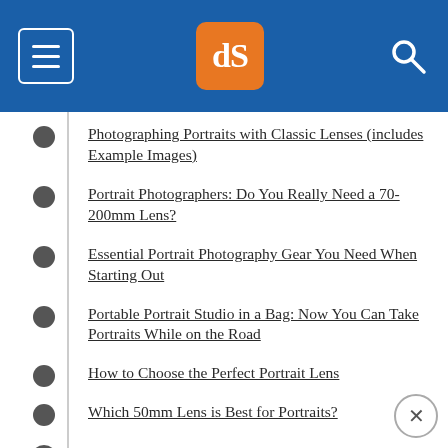dPS navigation header
Photographing Portraits with Classic Lenses (includes Example Images)
Portrait Photographers: Do You Really Need a 70-200mm Lens?
Essential Portrait Photography Gear You Need When Starting Out
Portable Portrait Studio in a Bag: Now You Can Take Portraits While on the Road
How to Choose the Perfect Portrait Lens
Which 50mm Lens is Best for Portraits?
ADVANCED GUIDES
13 Tips for Improving Outdoor Portraits